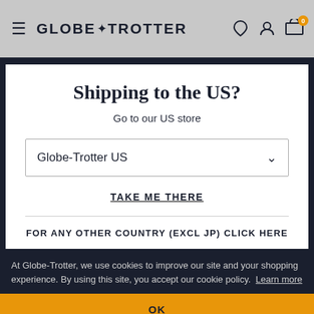GLOBE-TROTTER
Shipping to the US?
Go to our US store
Globe-Trotter US
TAKE ME THERE
FOR ANY OTHER COUNTRY (EXCL JP) CLICK HERE
At Globe-Trotter, we use cookies to improve our site and your shopping experience. By using this site, you accept our cookie policy. Learn more
OK